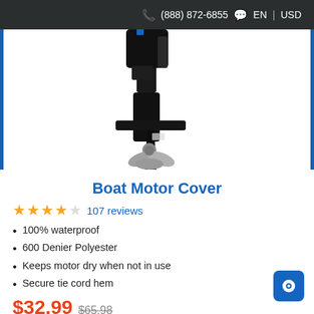(888) 872-6855  EN | USD
[Figure (photo): Boat motor lower unit with propeller, shown against white background with blue side borders]
Boat Motor Cover
4 out of 5 stars  107 reviews
100% waterproof
600 Denier Polyester
Keeps motor dry when not in use
Secure tie cord hem
$32.99  $65.98